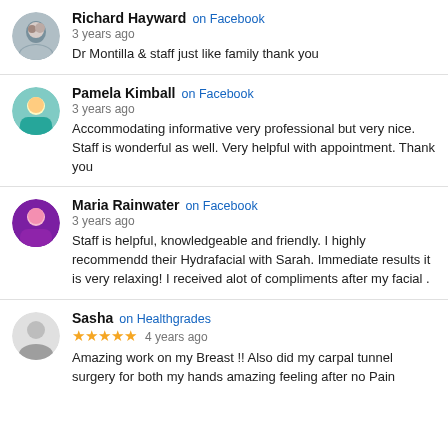Richard Hayward on Facebook
3 years ago
Dr Montilla & staff just like family thank you
Pamela Kimball on Facebook
3 years ago
Accommodating informative very professional but very nice. Staff is wonderful as well. Very helpful with appointment. Thank you
Maria Rainwater on Facebook
3 years ago
Staff is helpful, knowledgeable and friendly. I highly recommendd their Hydrafacial with Sarah. Immediate results it is very relaxing! I received alot of compliments after my facial .
Sasha on Healthgrades
★★★★★ 4 years ago
Amazing work on my Breast !! Also did my carpal tunnel surgery for both my hands amazing feeling after no Pain